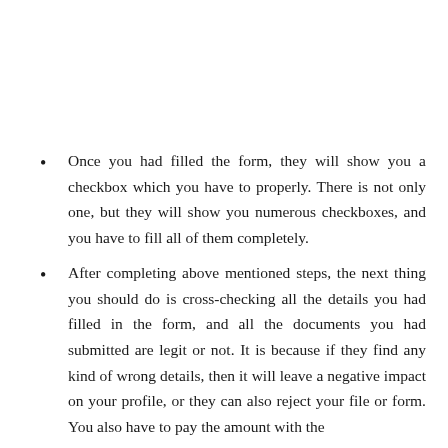Once you had filled the form, they will show you a checkbox which you have to properly. There is not only one, but they will show you numerous checkboxes, and you have to fill all of them completely.
After completing above mentioned steps, the next thing you should do is cross-checking all the details you had filled in the form, and all the documents you had submitted are legit or not. It is because if they find any kind of wrong details, then it will leave a negative impact on your profile, or they can also reject your file or form. You also have to pay the amount with the